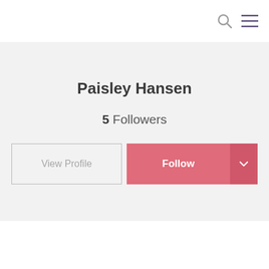[Figure (screenshot): Top navigation bar with search icon and hamburger menu icon on white background]
Paisley Hansen
5 Followers
[Figure (screenshot): Two buttons: 'View Profile' outlined button and 'Follow' pink/red filled button with dropdown arrow]